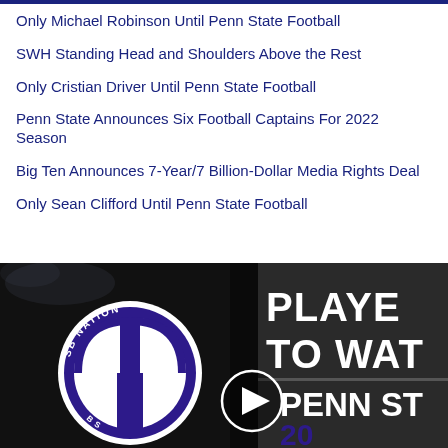Only Michael Robinson Until Penn State Football
SWH Standing Head and Shoulders Above the Rest
Only Cristian Driver Until Penn State Football
Penn State Announces Six Football Captains For 2022 Season
Big Ten Announces 7-Year/7 Billion-Dollar Media Rights Deal
Only Sean Clifford Until Penn State Football
[Figure (screenshot): SBNation logo circle on dark background with 'PLAYERS TO WATCH' text and Penn State branding on right panel. Play button circle overlay visible.]